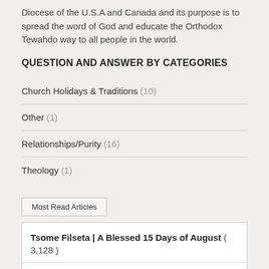Diocese of the U.S.A and Canada and its purpose is to spread the word of God and educate the Orthodox Tewahdo way to all people in the world.
QUESTION AND ANSWER BY CATEGORIES
Church Holidays & Traditions (10)
Other (1)
Relationships/Purity (16)
Theology (1)
Most Read Articles
Tsome Filseta | A Blessed 15 Days of August ( 3,128 )
Do's and Don'ts: The Church Traditions During Holy Week ( 2,412 )
How to read the MOST of the Holy Week ( 1,000 )